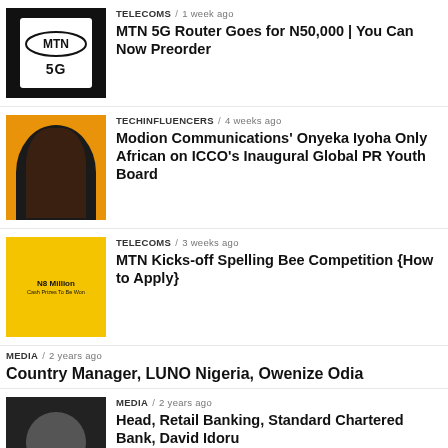TELECOMS / 1 week ago — MTN 5G Router Goes for N50,000 | You Can Now Preorder
TECHINFLUENCERS / 4 weeks ago — Modion Communications' Onyeka Iyoha Only African on ICCO's Inaugural Global PR Youth Board
TELECOMS / 3 weeks ago — MTN Kicks-off Spelling Bee Competition {How to Apply}
MEDIA / 2 years ago — Country Manager, LUNO Nigeria, Owenize Odia
MEDIA / 2 years ago — Head, Retail Banking, Standard Chartered Bank, David Idoru
TECHECONOMYTV / 2 years ago — [partial]